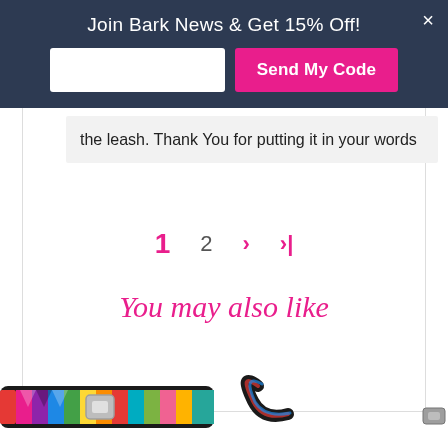Join Bark News & Get 15% Off!
the leash. Thank You for putting it in your words
1  2  >  >|
You may also like
[Figure (photo): Colorful striped dog collar with buckle, multicolor pattern]
[Figure (photo): Colorful striped dog leash with handle, multicolor pattern]